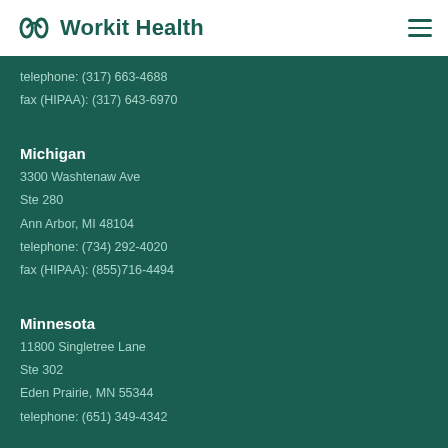Workit Health
telephone: (317) 663-4688
fax (HIPAA): (317) 643-6970
Michigan
3300 Washtenaw Ave
Ste 280
Ann Arbor, MI 48104
telephone: (734) 292-4020
fax (HIPAA): (855)716-4494
Minnesota
11800 Singletree Lane
Ste 302
Eden Prairie, MN 55344
telephone: (651) 349-4342